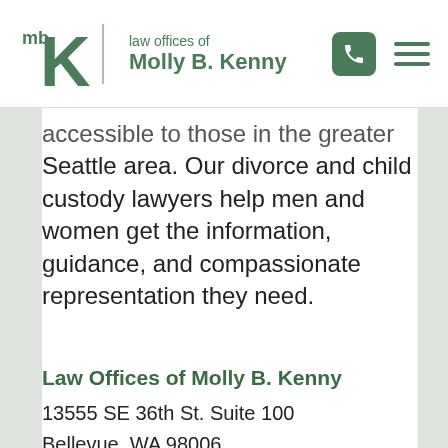[Figure (logo): Law Offices of Molly B. Kenny logo with green mbK monogram and firm name]
accessible to those in the greater Seattle area. Our divorce and child custody lawyers help men and women get the information, guidance, and compassionate representation they need.
Law Offices of Molly B. Kenny
13555 SE 36th St. Suite 100
Bellevue, WA 98006
Phone: (425) 460–0550
Fax: (425) 460–0551